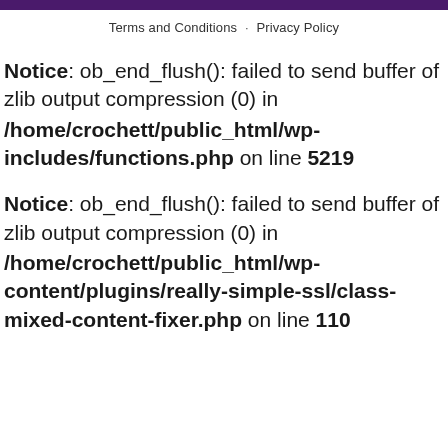Terms and Conditions · Privacy Policy
Notice: ob_end_flush(): failed to send buffer of zlib output compression (0) in /home/crochett/public_html/wp-includes/functions.php on line 5219
Notice: ob_end_flush(): failed to send buffer of zlib output compression (0) in /home/crochett/public_html/wp-content/plugins/really-simple-ssl/class-mixed-content-fixer.php on line 110